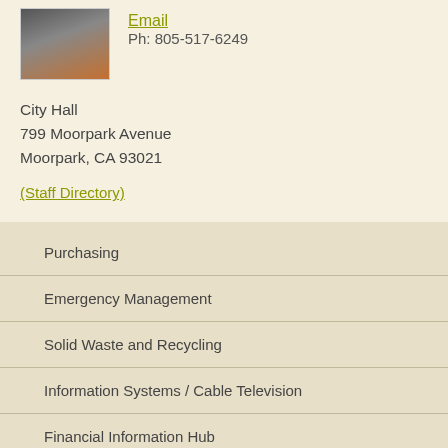[Figure (photo): Woman with dark hair wearing an orange shirt, headshot photo]
Email
Ph: 805-517-6249
City Hall
799 Moorpark Avenue
Moorpark, CA 93021
(Staff Directory)
Purchasing
Emergency Management
Solid Waste and Recycling
Information Systems / Cable Television
Financial Information Hub
American Rescue Plan